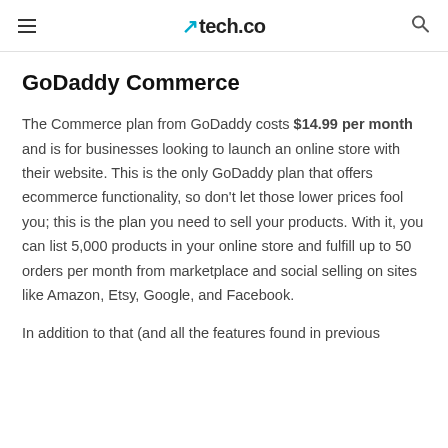tech.co
GoDaddy Commerce
The Commerce plan from GoDaddy costs $14.99 per month and is for businesses looking to launch an online store with their website. This is the only GoDaddy plan that offers ecommerce functionality, so don't let those lower prices fool you; this is the plan you need to sell your products. With it, you can list 5,000 products in your online store and fulfill up to 50 orders per month from marketplace and social selling on sites like Amazon, Etsy, Google, and Facebook.
In addition to that (and all the features found in previous